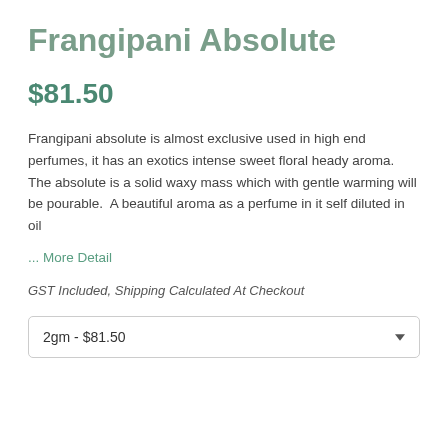Frangipani Absolute
$81.50
Frangipani absolute is almost exclusive used in high end perfumes, it has an exotics intense sweet floral heady aroma. The absolute is a solid waxy mass which with gentle warming will be pourable.  A beautiful aroma as a perfume in it self diluted in oil
... More Detail
GST Included, Shipping Calculated At Checkout
2gm - $81.50